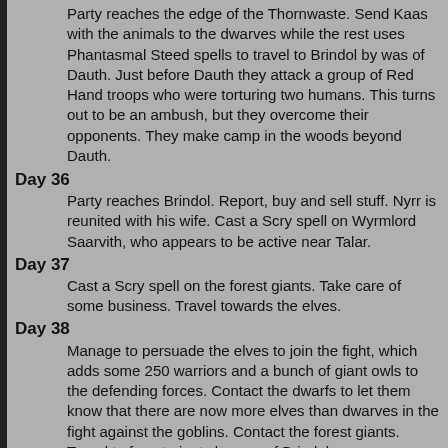Party reaches the edge of the Thornwaste. Send Kaas with the animals to the dwarves while the rest uses Phantasmal Steed spells to travel to Brindol by was of Dauth. Just before Dauth they attack a group of Red Hand troops who were torturing two humans. This turns out to be an ambush, but they overcome their opponents. They make camp in the woods beyond Dauth.
Day 36
Party reaches Brindol. Report, buy and sell stuff. Nyrr is reunited with his wife. Cast a Scry spell on Wyrmlord Saarvith, who appears to be active near Talar.
Day 37
Cast a Scry spell on the forest giants. Take care of some business. Travel towards the elves.
Day 38
Manage to persuade the elves to join the fight, which adds some 250 warriors and a bunch of giant owls to the defending forces. Contact the dwarfs to let them know that there are now more elves than dwarves in the fight against the goblins. Contact the forest giants. Travel to forest giants by way of Brindol.